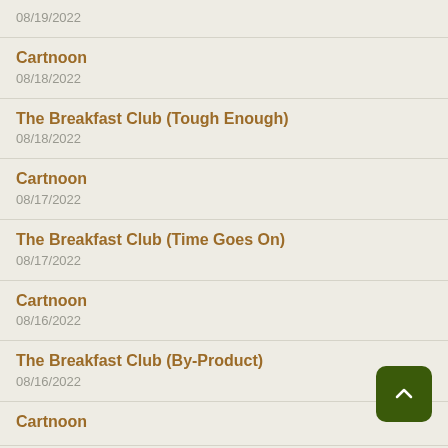08/19/2022
Cartnoon
08/18/2022
The Breakfast Club (Tough Enough)
08/18/2022
Cartnoon
08/17/2022
The Breakfast Club (Time Goes On)
08/17/2022
Cartnoon
08/16/2022
The Breakfast Club (By-Product)
08/16/2022
Cartnoon